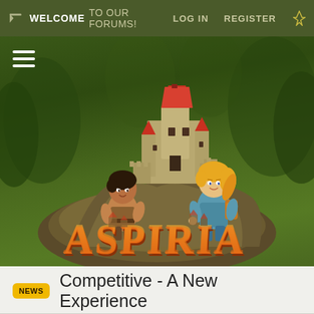WELCOME TO OUR FORUMS! | LOG IN | REGISTER
[Figure (screenshot): Aspiria game forum hero image showing a fantasy castle on a rocky hill with two cartoon game characters (a dark-haired boy on the left and a blonde girl on the right), with the 'ASPIRIA' logo in orange/gold stylized text below the characters, set against a green forest background.]
NEWS Competitive - A New Experience